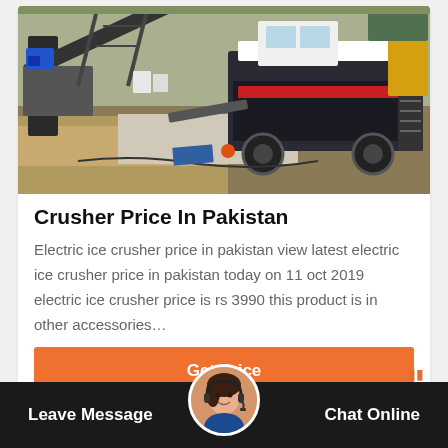[Figure (photo): Aerial/side view of heavy industrial stone crusher machinery at a quarry/construction site, with conveyor belts, mobile crusher units, and construction equipment visible outdoors.]
Crusher Price In Pakistan
Electric ice crusher price in pakistan view latest electric ice crusher price in pakistan today on 11 oct 2019 electric ice crusher price is rs 3990 this product is in other accessories…
Get Price
[Figure (photo): Customer service representative avatar with headset, circular photo used for chat widget.]
Leave Message
Chat Online